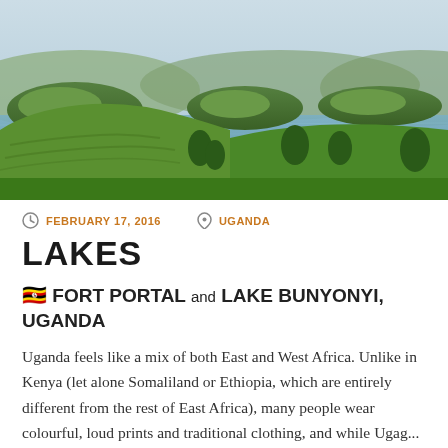[Figure (photo): Aerial landscape view of Lake Bunyonyi in Uganda, showing terraced green hills in the foreground, a calm lake with multiple islands in the middle, and hazy sky in the background.]
FEBRUARY 17, 2016   UGANDA
LAKES
🇺🇬 FORT PORTAL AND LAKE BUNYONYI, UGANDA
Uganda feels like a mix of both East and West Africa. Unlike in Kenya (let alone Somaliland or Ethiopia, which are entirely different from the rest of East Africa), many people wear colourful, loud prints and traditional clothing, and while Ugag...